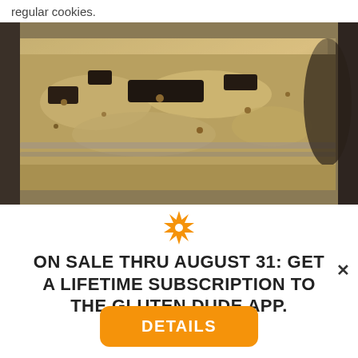regular cookies.
[Figure (photo): Close-up photo of cookie dough or baked cookie bar in a metal baking pan, showing crumbly golden texture with chocolate pieces visible]
[Figure (other): Orange eight-pointed star / asterisk decorative icon]
ON SALE THRU AUGUST 31: GET A LIFETIME SUBSCRIPTION TO THE GLUTEN DUDE APP.
DETAILS